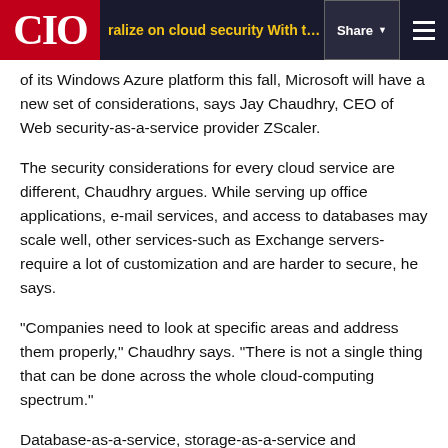CIO — ralize on cloud security With the coming launch of its Windows Azure platform this fall, Microsoft will have a new set of considerations, says Jay Chaudhry, CEO of Web security-as-a-service provider ZScaler.
of its Windows Azure platform this fall, Microsoft will have a new set of considerations, says Jay Chaudhry, CEO of Web security-as-a-service provider ZScaler.
The security considerations for every cloud service are different, Chaudhry argues. While serving up office applications, e-mail services, and access to databases may scale well, other services-such as Exchange servers-require a lot of customization and are harder to secure, he says.
"Companies need to look at specific areas and address them properly," Chaudhry says. "There is not a single thing that can be done across the whole cloud-computing spectrum."
Database-as-a-service, storage-as-a-service and vulnerability-assessment-as-a-service all have different